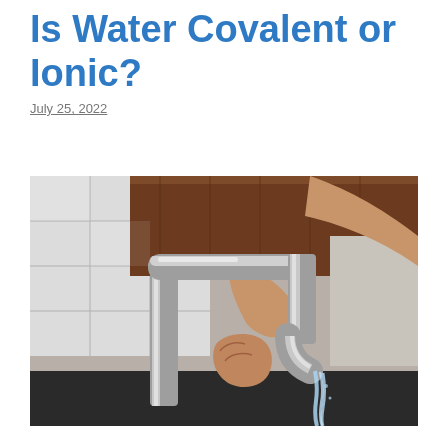Is Water Covalent or Ionic?
July 25, 2022
[Figure (photo): A person's hand turning a chrome faucet with water flowing out, against a white tile wall and wooden cabinet background.]